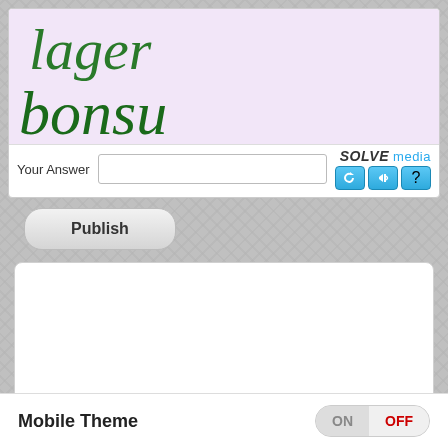[Figure (screenshot): CAPTCHA widget showing handwritten cursive text 'lager bonsu' on a pink/lavender background, with 'Your Answer' label, text input field, SOLVE media logo and control buttons (refresh, audio, help)]
[Figure (screenshot): Publish button - rounded rectangle button with 'Publish' label]
[Figure (screenshot): Empty textarea / comment box with resize handle]
[Figure (screenshot): Mobile Theme toggle bar at bottom with ON/OFF switch showing OFF selected in red]